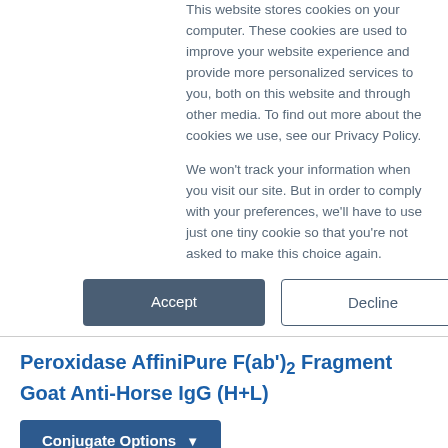This website stores cookies on your computer. These cookies are used to improve your website experience and provide more personalized services to you, both on this website and through other media. To find out more about the cookies we use, see our Privacy Policy.
We won't track your information when you visit our site. But in order to comply with your preferences, we'll have to use just one tiny cookie so that you're not asked to make this choice again.
Accept | Decline
Peroxidase AffiniPure F(ab')2 Fragment Goat Anti-Horse IgG (H+L)
Conjugate Options
Target: Horse
Host: Goat
Antibody Format: F(ab')2 Fragment
Specificity: IgG (H+L)
Conjugate: Horseradish Peroxidase